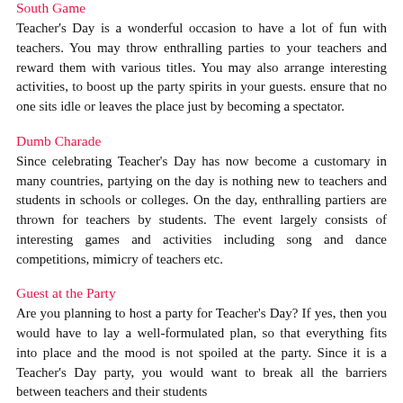South Game
Teacher's Day is a wonderful occasion to have a lot of fun with teachers. You may throw enthralling parties to your teachers and reward them with various titles. You may also arrange interesting activities, to boost up the party spirits in your guests. ensure that no one sits idle or leaves the place just by becoming a spectator.
Dumb Charade
Since celebrating Teacher's Day has now become a customary in many countries, partying on the day is nothing new to teachers and students in schools or colleges. On the day, enthralling partiers are thrown for teachers by students. The event largely consists of interesting games and activities including song and dance competitions, mimicry of teachers etc.
Guest at the Party
Are you planning to host a party for Teacher's Day? If yes, then you would have to lay a well-formulated plan, so that everything fits into place and the mood is not spoiled at the party. Since it is a Teacher's Day party, you would want to break all the barriers between teachers and their students